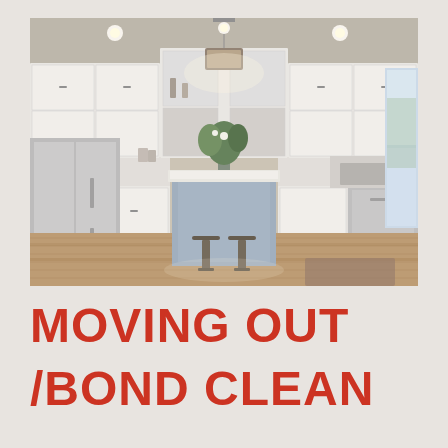[Figure (photo): Interior photo of a modern kitchen with white shaker cabinets, a large island with a white countertop and two bar stools, stainless steel appliances including a refrigerator, pendant lighting over the island, hardwood floors, and recessed ceiling lights. Bright and clean appearance.]
MOVING OUT /BOND CLEAN